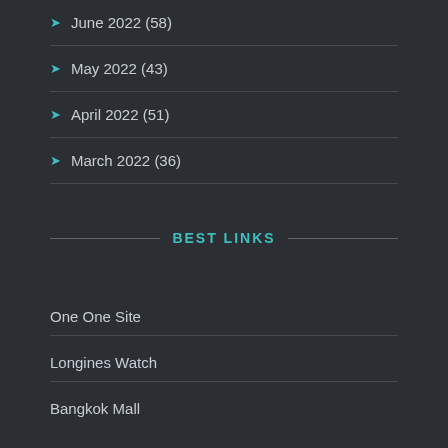June 2022 (58)
May 2022 (43)
April 2022 (51)
March 2022 (36)
BEST LINKS
One One Site
Longines Watch
Bangkok Mall